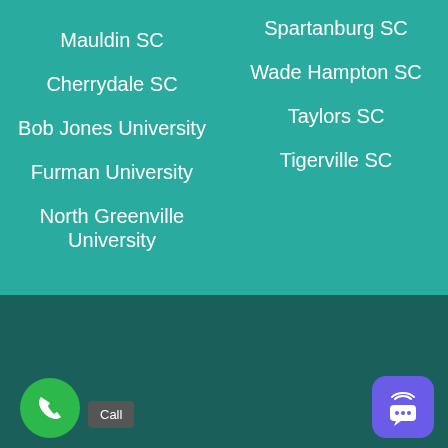Mauldin SC
Cherrydale SC
Bob Jones University
Furman University
North Greenville University
Spartanburg SC
Wade Hampton SC
Taylors SC
Tigerville SC
[Figure (logo): SalesSite logo with stacked chevron icon]
Bulit and Optimized by SalesSite Copyright 2021